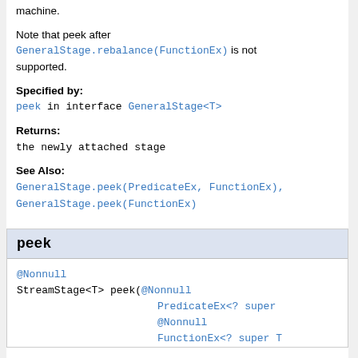machine.
Note that peek after GeneralStage.rebalance(FunctionEx) is not supported.
Specified by:
peek in interface GeneralStage<T>
Returns:
the newly attached stage
See Also:
GeneralStage.peek(PredicateEx, FunctionEx), GeneralStage.peek(FunctionEx)
peek
@Nonnull
StreamStage<T> peek(@Nonnull
                    PredicateEx<? super
                    @Nonnull
                    FunctionEx<? super T